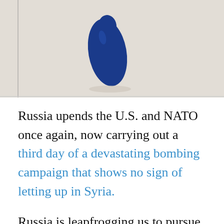[Figure (photo): Partial photo showing a dark blue shape (possibly a drop or vessel) against a light beige background — cropped, only bottom portion visible.]
Russia upends the U.S. and NATO once again, now carrying out a third day of a devastating bombing campaign that shows no sign of letting up in Syria.
Russia is leapfrogging us to pursue their goals of keeping dictator Bashar